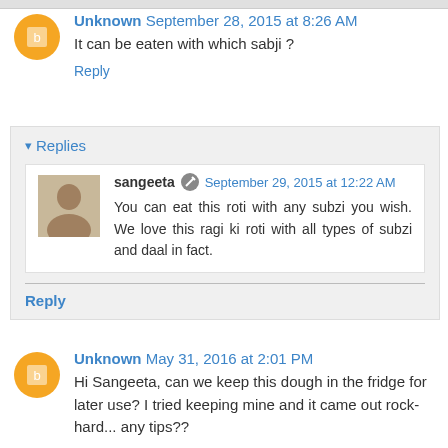Unknown September 28, 2015 at 8:26 AM
It can be eaten with which sabji ?
Reply
Replies
sangeeta September 29, 2015 at 12:22 AM
You can eat this roti with any subzi you wish. We love this ragi ki roti with all types of subzi and daal in fact.
Reply
Unknown May 31, 2016 at 2:01 PM
Hi Sangeeta, can we keep this dough in the fridge for later use? I tried keeping mine and it came out rock-hard... any tips??